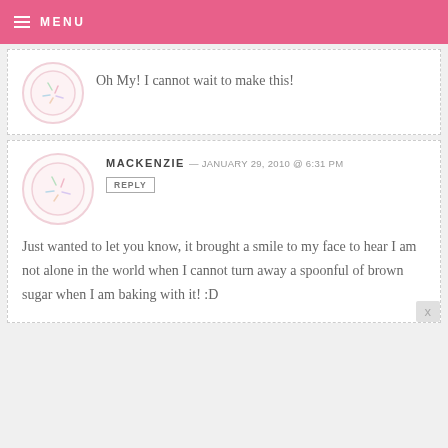MENU
Oh My! I cannot wait to make this!
MACKENZIE — JANUARY 29, 2010 @ 6:31 PM
REPLY
Just wanted to let you know, it brought a smile to my face to hear I am not alone in the world when I cannot turn away a spoonful of brown sugar when I am baking with it! :D